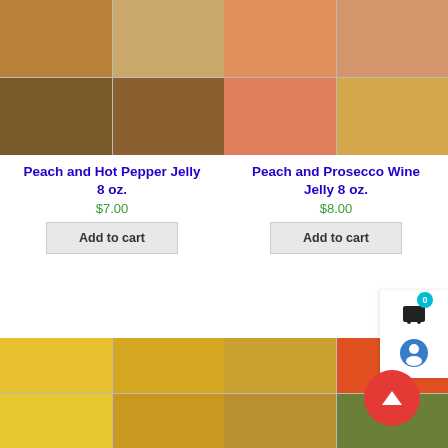[Figure (photo): Collage of jars of Peach and Hot Pepper Jelly]
Peach and Hot Pepper Jelly 8 oz.
$7.00
Add to cart
[Figure (photo): Collage of jars of Peach and Prosecco Wine Jelly]
Peach and Prosecco Wine Jelly 8 oz.
$8.00
Add to cart
[Figure (photo): Collage of corn relish product photos]
[Figure (photo): Collage of fruit basket product photos]